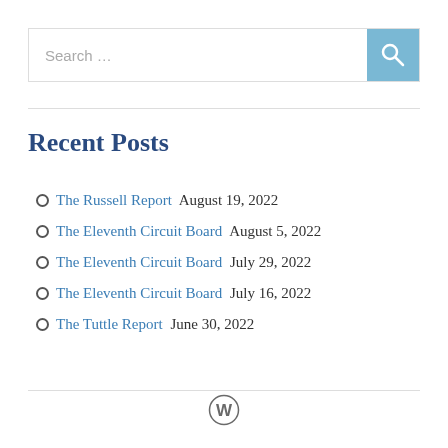Search …
Recent Posts
The Russell Report August 19, 2022
The Eleventh Circuit Board August 5, 2022
The Eleventh Circuit Board July 29, 2022
The Eleventh Circuit Board July 16, 2022
The Tuttle Report June 30, 2022
[Figure (logo): WordPress logo (W in circle)]